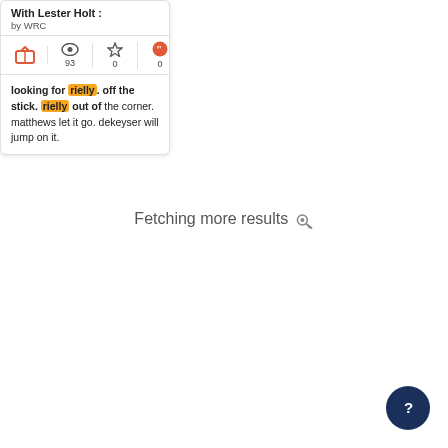With Lester Holt : by WRC
[Figure (screenshot): Card with TV icon (93 views), star icon (0 favorites), quote icon (0 comments)]
looking for rielly. off the stick. rielly out of the corner. matthews let it go. dekeyser will jump on it.
Fetching more results
[Figure (other): Help/question mark button, dark navy circle with white question mark, bottom right corner]